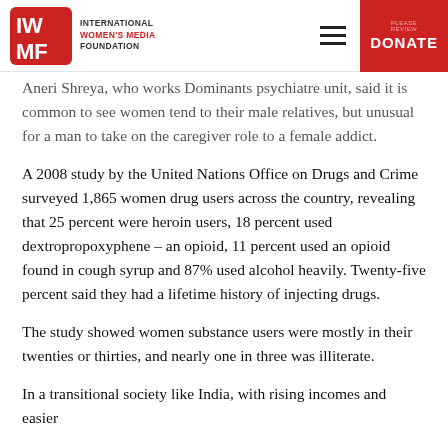International Women's Media Foundation — DONATE
Aneri Shreya, who works Dominants psychiatre unit, said it is common to see women tend to their male relatives, but unusual for a man to take on the caregiver role to a female addict.
A 2008 study by the United Nations Office on Drugs and Crime surveyed 1,865 women drug users across the country, revealing that 25 percent were heroin users, 18 percent used dextropropoxyphene – an opioid, 11 percent used an opioid found in cough syrup and 87% used alcohol heavily. Twenty-five percent said they had a lifetime history of injecting drugs.
The study showed women substance users were mostly in their twenties or thirties, and nearly one in three was illiterate.
In a transitional society like India, with rising incomes and easier